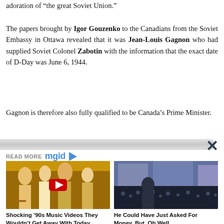adoration of “the great Soviet Union.”
The papers brought by Igor Gouzenko to the Canadians from the Soviet Embassy in Ottawa revealed that it was Jean-Louis Gagnon who had supplied Soviet Colonel Zabotin with the information that the exact date of D-Day was June 6, 1944.
Gagnon is therefore also fully qualified to be Canada’s Prime Minister.
[Figure (other): READ MORE mgid logo with arrow]
[Figure (photo): Thumbnail image for article: Shocking '90s Music Videos They Wouldn't Get Away With Today]
Shocking ’90s Music Videos They Wouldn’t Get Away With Today
[Figure (photo): Thumbnail image for article: He Could Have Just Asked For Money, But, Oh Well]
He Could Have Just Asked For Money, But, Oh Well